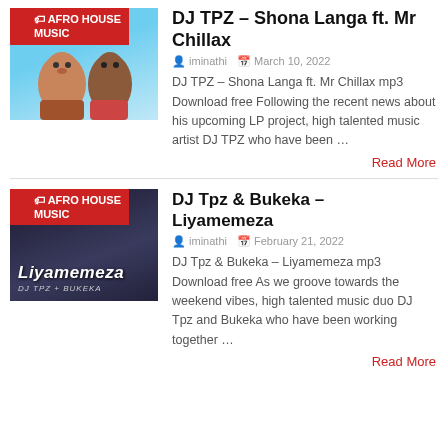[Figure (photo): Thumbnail for DJ TPZ Shona Langa ft. Mr Chillax article, showing two people against a blue background with AFRO HOUSE MUSIC red label overlay]
DJ TPZ – Shona Langa ft. Mr Chillax
iminathi   March 10, 2022
DJ TPZ – Shona Langa ft. Mr Chillax mp3 Download free Following the recent news about his upcoming LP project, high talented music artist DJ TPZ who have been …
Read More
[Figure (photo): Thumbnail for DJ Tpz & Bukeka Liyamemeza article, dark background with Liyamemeza text, AFRO HOUSE MUSIC red label overlay]
DJ Tpz & Bukeka – Liyamemeza
iminathi   February 21, 2022
DJ Tpz & Bukeka – Liyamemeza mp3 Download free As we groove towards the weekend vibes, high talented music duo DJ Tpz and Bukeka who have been working together …
Read More